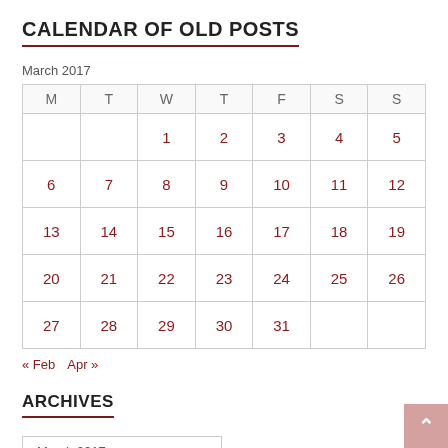CALENDAR OF OLD POSTS
March 2017
| M | T | W | T | F | S | S |
| --- | --- | --- | --- | --- | --- | --- |
|  |  | 1 | 2 | 3 | 4 | 5 |
| 6 | 7 | 8 | 9 | 10 | 11 | 12 |
| 13 | 14 | 15 | 16 | 17 | 18 | 19 |
| 20 | 21 | 22 | 23 | 24 | 25 | 26 |
| 27 | 28 | 29 | 30 | 31 |  |  |
« Feb   Apr »
ARCHIVES
March 2017
CATEGORIES